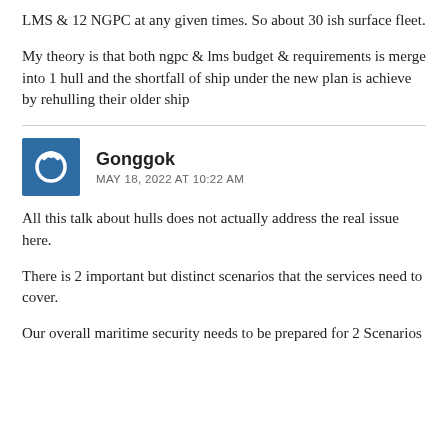LMS & 12 NGPC at any given times. So about 30 ish surface fleet.
My theory is that both ngpc & lms budget & requirements is merge into 1 hull and the shortfall of ship under the new plan is achieve by rehulling their older ship
Gonggok
MAY 18, 2022 AT 10:22 AM
All this talk about hulls does not actually address the real issue here.
There is 2 important but distinct scenarios that the services need to cover.
Our overall maritime security needs to be prepared for 2 Scenarios